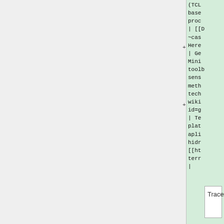(TCL
base
proc
| [[D
~cast
Here
+ | Ge
Mini
toolb
sens
meth
tech
wiki
id=g
+ | Te
plat
apli
hidr
[[ht
terr
|
Trace: